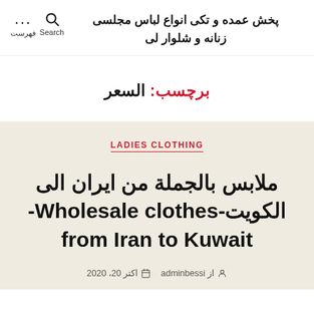پخش عمده و تکی انواع لباس مجلسی زنانه و شلوار لی
برچسب: السعر
LADIES CLOTHING
ملابس بالجملة من ایران الی الکویت- Wholesale clothes from Iran to Kuwait
از adminbessi اکتر 20، 2020